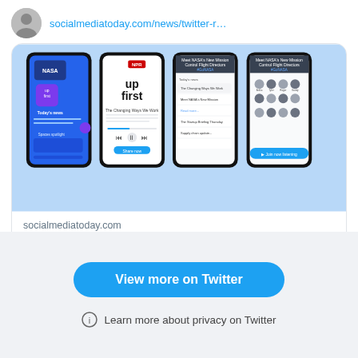socialmediatoday.com/news/twitter-r…
[Figure (screenshot): Four smartphone screens showing Twitter Spaces and audio content features, including NASA podcast cards, 'Up First' podcast, and Twitter Spaces tab]
socialmediatoday.com
Twitter Rolls Out Podcasts in the Spaces Tab, Expanding its Audio Content Focus
View more on Twitter
Learn more about privacy on Twitter